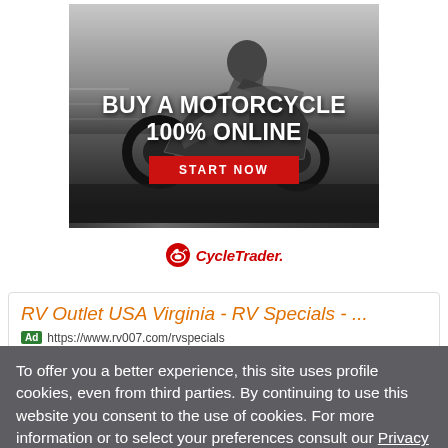[Figure (illustration): Cycle Trader advertisement banner: black and white photo of a motorcyclist on a sport bike, with large white bold text 'BUY A MOTORCYCLE 100% ONLINE', a red 'START NOW' button, and the Cycle Trader logo at the bottom on white background.]
RV Outlet USA Virginia - RV Specials - ...
Ad https://www.rv007.com/rvspecials
To offer you a better experience, this site uses profile cookies, even from third parties. By continuing to use this website you consent to the use of cookies. For more information or to select your preferences consult our Privacy Policy